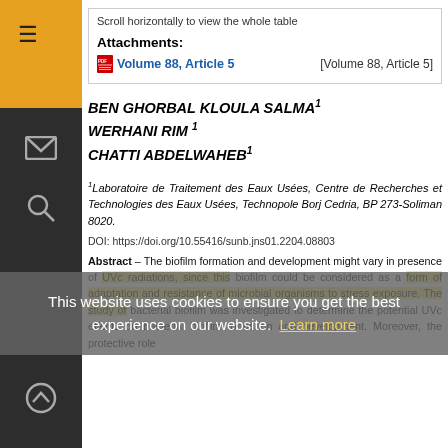Scroll horizontally to view the whole table
Attachments:
Volume 88, Article 5   [Volume 88, Article 5]
BEN GHORBAL KLOULA SALMA¹
WERHANI RIM¹
CHATTI ABDELWAHEB¹
¹Laboratoire de Traitement des Eaux Usées, Centre de Recherches et Technologies des Eaux Usées, Technopole Borj Cedria, BP 273-Soliman 8020.
DOI: https://doi.org/10.55416/sunb.jns01.2204.08803
This website uses cookies to ensure you get the best experience on our website. Learn more
Abstract – The biofilm formation and development might vary in presence of UVc radiations, since this biofilm could be considered as a form of adaptation and resistance of microbial organisms to stress exposure. The study of bacterial biofilm was investigated to determine the potential UVc effects on bacterial biofilm formation and development. Moreover, the protective role of superoxide dismutase (SOD) against UV irradiation has been